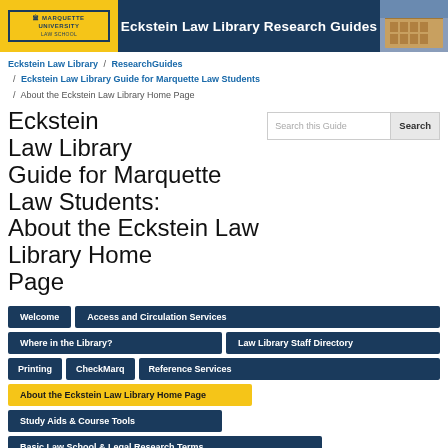[Figure (logo): Marquette University Law School logo and Eckstein Law Library Research Guides header banner with building photo]
Eckstein Law Library Research Guides
Eckstein Law Library / ResearchGuides / Eckstein Law Library Guide for Marquette Law Students / About the Eckstein Law Library Home Page
Eckstein Law Library Guide for Marquette Law Students: About the Eckstein Law Library Home Page
Welcome
Access and Circulation Services
Where in the Library?
Law Library Staff Directory
Printing
CheckMarq
Reference Services
About the Eckstein Law Library Home Page
Study Aids & Course Tools
Basic Law School & Legal Research Terms
Basic Legal Citation Abbreviations to Know